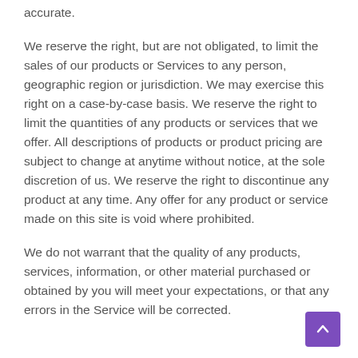accurate.
We reserve the right, but are not obligated, to limit the sales of our products or Services to any person, geographic region or jurisdiction. We may exercise this right on a case-by-case basis. We reserve the right to limit the quantities of any products or services that we offer. All descriptions of products or product pricing are subject to change at anytime without notice, at the sole discretion of us. We reserve the right to discontinue any product at any time. Any offer for any product or service made on this site is void where prohibited.
We do not warrant that the quality of any products, services, information, or other material purchased or obtained by you will meet your expectations, or that any errors in the Service will be corrected.